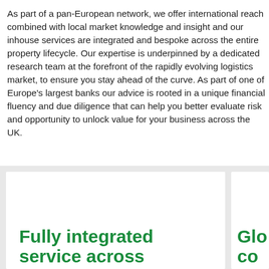As part of a pan-European network, we offer international reach combined with local market knowledge and insight and our inhouse services are integrated and bespoke across the entire property lifecycle. Our expertise is underpinned by a dedicated research team at the forefront of the rapidly evolving logistics market, to ensure you stay ahead of the curve. As part of one of Europe's largest banks our advice is rooted in a unique financial fluency and due diligence that can help you better evaluate risk and opportunity to unlock value for your business across the UK.
Fully integrated service across
Glo co